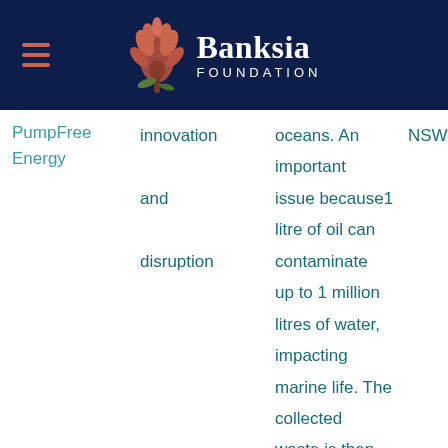[Figure (logo): Banksia Foundation logo with coral/orange banksia flower icon and white text reading 'Banksia FOUNDATION' on dark navy background, with hamburger menu icon on the left]
PumpFree Energy
innovation and disruption
oceans. An important issue because 1 litre of oil can contaminate up to 1 million litres of water, impacting marine life. The collected waste is then sold and
NSW